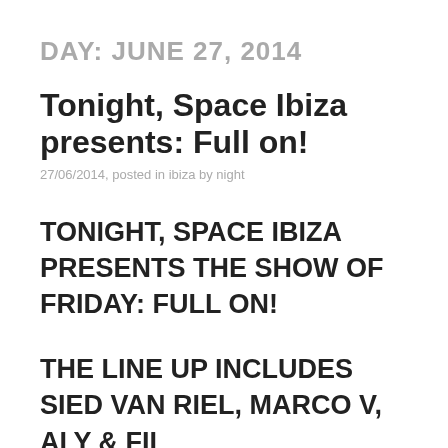DAY: JUNE 27, 2014
Tonight, Space Ibiza presents: Full on!
27/06/2014, posted in ibiza by night
TONIGHT, SPACE IBIZA PRESENTS THE SHOW OF FRIDAY: FULL ON!
THE LINE UP INCLUDES SIED VAN RIEL, MARCO V, ALY & FILA...